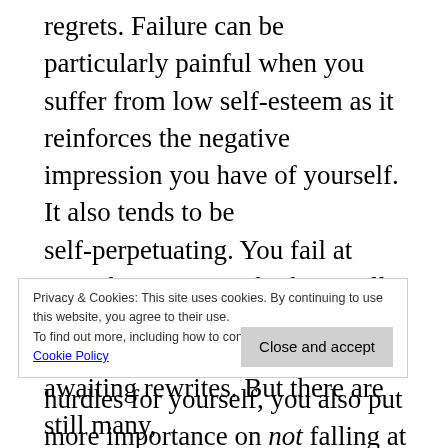regrets. Failure can be particularly painful when you suffer from low self-esteem as it reinforces the negative impression you have of yourself. It also tends to be self-perpetuating. You fail at something, so you think “I really must do better next time” and not only do you set up another set of hurdles for yourself, you also put more importance on not falling at them. If/when something goes wrong with this new plan, you’ve failed again, you’ve failed worse, and you’re generally a failure at life. So you start another theme and on it goes. The achievement of actually finishing something is immense, as when I finished my first draft of Skive which is now thoroughly cooled on and awaiting rewrites. But there are still many,
Privacy & Cookies: This site uses cookies. By continuing to use this website, you agree to their use. To find out more, including how to control cookies, see here: Cookie Policy